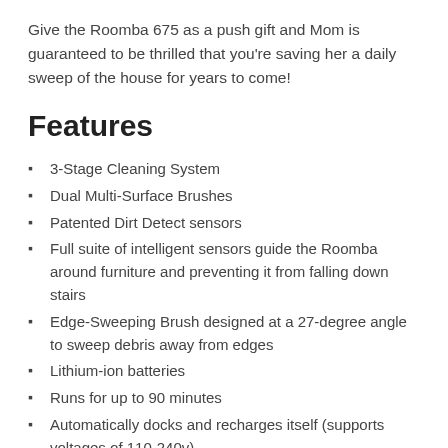Give the Roomba 675 as a push gift and Mom is guaranteed to be thrilled that you're saving her a daily sweep of the house for years to come!
Features
3-Stage Cleaning System
Dual Multi-Surface Brushes
Patented Dirt Detect sensors
Full suite of intelligent sensors guide the Roomba around furniture and preventing it from falling down stairs
Edge-Sweeping Brush designed at a 27-degree angle to sweep debris away from edges
Lithium-ion batteries
Runs for up to 90 minutes
Automatically docks and recharges itself (supports voltages of 110-240v)